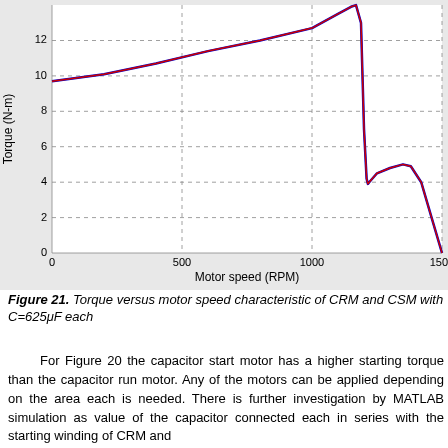[Figure (continuous-plot): Torque versus motor speed characteristic curve for CRM and CSM with C=625μF each. Y-axis: Torque (N-m) from 0 to 14. X-axis: Motor speed (RPM) from 0 to 1500. Two overlapping curves (blue and red) showing torque rising from ~9.7 N-m at 0 RPM, peaking at ~14 N-m near 1150 RPM, then sharply dropping to ~3.9 N-m at ~1200 RPM, rising to ~5 N-m near 1350 RPM, then falling to 0 at ~1500 RPM.]
Figure 21. Torque versus motor speed characteristic of CRM and CSM with C=625μF each
For Figure 20 the capacitor start motor has a higher starting torque than the capacitor run motor. Any of the motors can be applied depending on the area each is needed. There is further investigation by MATLAB simulation as value of the capacitor connected each in series with the starting winding of CRM and